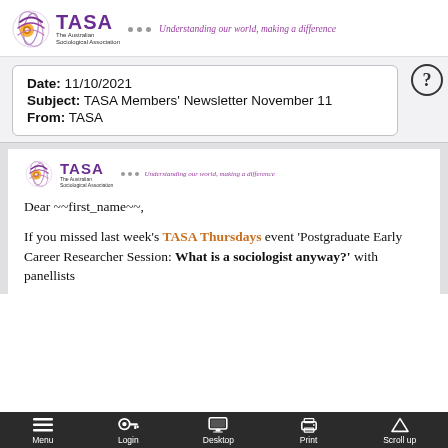[Figure (logo): TASA – The Australian Sociological Association logo with tagline 'Understanding our world, making a difference']
| Date: 11/10/2021 |
| Subject: TASA Members' Newsletter November 11 |
| From: TASA |
[Figure (logo): TASA logo repeated inside newsletter body]
Dear ~~first_name~~,
If you missed last week's TASA Thursdays event 'Postgraduate Early Career Researcher Session: What is a sociologist anyway?' with panellists...